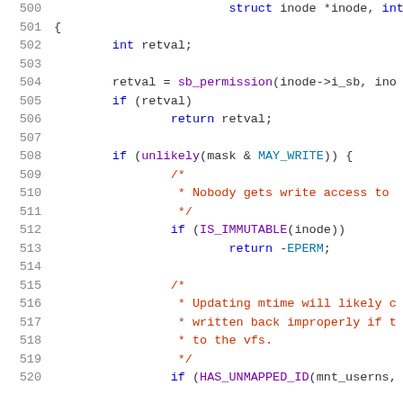[Figure (screenshot): Source code listing lines 500-520 of a Linux kernel C file showing inode permission checking logic with syntax highlighting. Line numbers in gray on left, keywords in blue, comments in dark red/brown, function names and macros in purple/teal.]